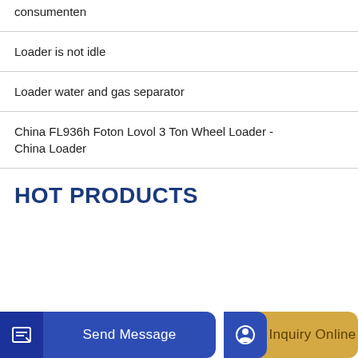consumenten
Loader is not idle
Loader water and gas separator
China FL936h Foton Lovol 3 Ton Wheel Loader - China Loader
HOT PRODUCTS
Send Message | Inquiry Online